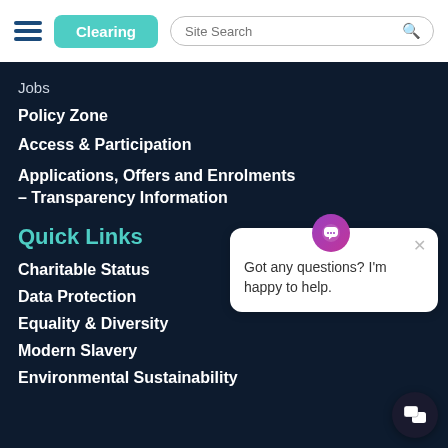[Figure (screenshot): Website header with hamburger menu icon, teal 'Clearing' button, and site search box]
Jobs
Policy Zone
Access & Participation
Applications, Offers and Enrolments – Transparency Information
Quick Links
Charitable Status
Data Protection
Equality & Diversity
Modern Slavery
Environmental Sustainability
[Figure (other): Chat popup bubble: 'Got any questions? I'm happy to help.' with purple chat icon and floating chat button]